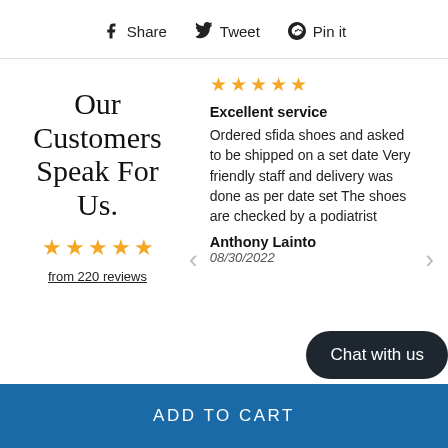Share  Tweet  Pin it
Our Customers Speak For Us.
from 220 reviews
Excellent service
Ordered sfida shoes and asked to be shipped on a set date Very friendly staff and delivery was done as per date set The shoes are checked by a podiatrist
Anthony Lainto
08/30/2022
Chat with us
ADD TO CART